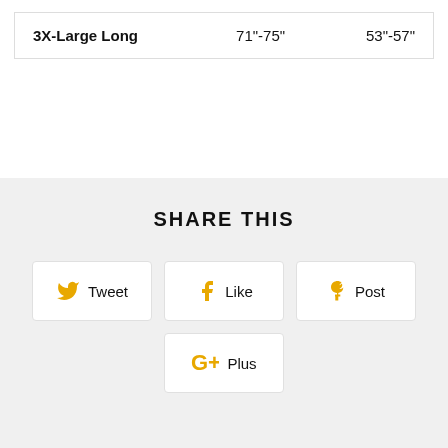| 3X-Large Long | 71"-75" | 53"-57" |
SHARE THIS
Tweet
Like
Post
Plus